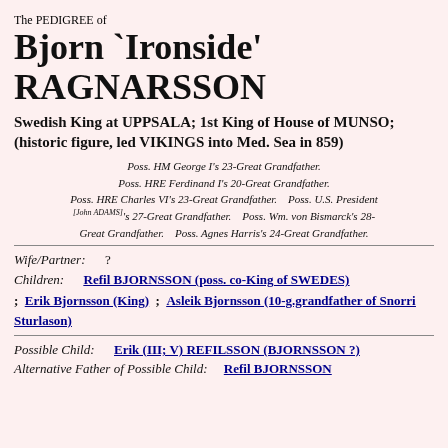The PEDIGREE of
Bjorn `Ironside' RAGNARSSON
Swedish King at UPPSALA; 1st King of House of MUNSO; (historic figure, led VIKINGS into Med. Sea in 859)
Poss. HM George I's 23-Great Grandfather. Poss. HRE Ferdinand I's 20-Great Grandfather. Poss. HRE Charles VI's 23-Great Grandfather. Poss. U.S. President [John ADAMS]'s 27-Great Grandfather. Poss. Wm. von Bismarck's 28-Great Grandfather. Poss. Agnes Harris's 24-Great Grandfather.
Wife/Partner: ? Children: Refil BJORNSSON (poss. co-King of SWEDES) ; Erik Bjornsson (King) ; Asleik Bjornsson (10-g.grandfather of Snorri Sturlason)
Possible Child: Erik (III; V) REFILSSON (BJORNSSON ?) Alternative Father of Possible Child: Refil BJORNSSON